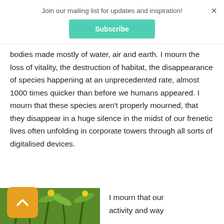Join our mailing list for updates and inspiration!
Subscribe
bodies made mostly of water, air and earth. I mourn the loss of vitality, the destruction of habitat, the disappearance of species happening at an unprecedented rate, almost 1000 times quicker than before we humans appeared. I mourn that these species aren't properly mourned, that they disappear in a huge silence in the midst of our frenetic lives often unfolding in corporate towers through all sorts of digitalised devices.
[Figure (photo): Close-up photo of green plant stems with yellow blossoms]
I mourn that our activity and way